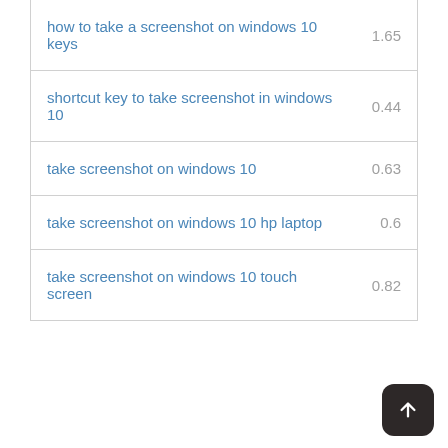| keyword | value |
| --- | --- |
| how to take a screenshot on windows 10 keys | 1.65 |
| shortcut key to take screenshot in windows 10 | 0.44 |
| take screenshot on windows 10 | 0.63 |
| take screenshot on windows 10 hp laptop | 0.6 |
| take screenshot on windows 10 touch screen | 0.82 |